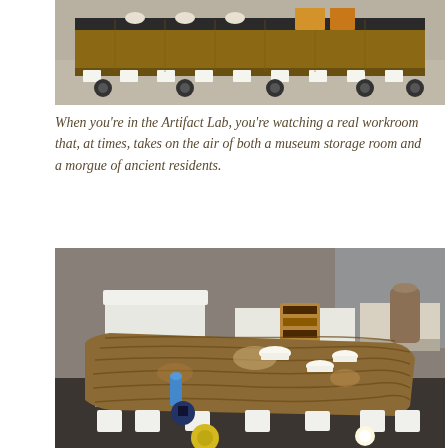[Figure (photo): Museum storage room with large wooden crate or artifact on a wheeled cart, covered in protective foam padding, on a gray floor]
When you're in the Artifact Lab, you're watching a real workroom that, at times, takes on the air of both a museum storage room and a morgue of ancient residents.
[Figure (photo): A large ancient Egyptian wooden sarcophagus or coffin lying on foam supports in a metal-railed conservation workroom, with small white bowls placed on top; other artifacts and workbenches visible in background]